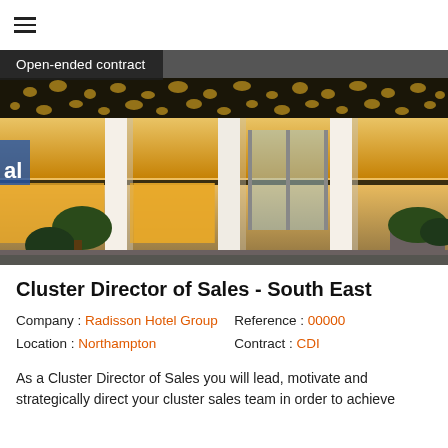≡ (hamburger menu icon)
[Figure (photo): Exterior photograph of a modern hotel building at night with illuminated golden canopy supported by white columns, decorative perforated black metalwork on the upper facade, glass entrance doors, and landscaping with plants in planters. Badge overlay reads: Open-ended contract]
Cluster Director of Sales - South East
Company : Radisson Hotel Group   Reference : 00000
Location :  Northampton        Contract : CDI
As a Cluster Director of Sales you will lead, motivate and strategically direct your cluster sales team in order to achieve